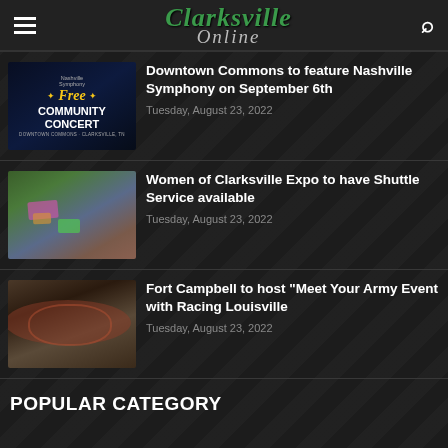Clarksville Online
Downtown Commons to feature Nashville Symphony on September 6th
Tuesday, August 23, 2022
[Figure (photo): Nashville Symphony Free Community Concert promotional image with dark blue background and golden text]
Women of Clarksville Expo to have Shuttle Service available
Tuesday, August 23, 2022
[Figure (photo): Aerial view of event venue with colorful sections highlighted]
Fort Campbell to host "Meet Your Army Event with Racing Louisville
Tuesday, August 23, 2022
[Figure (photo): Aerial view of stadium surrounded by roads and parking]
POPULAR CATEGORY